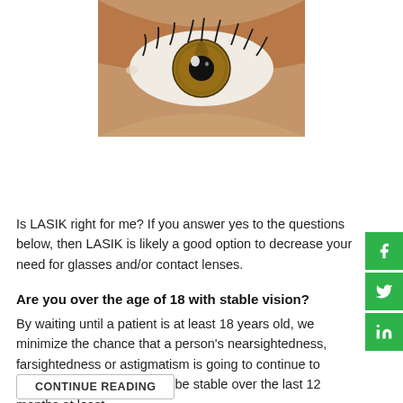[Figure (photo): Close-up photograph of a human eye with a hazel/amber iris and visible eyelashes and skin]
Is LASIK right for me? If you answer yes to the questions below, then LASIK is likely a good option to decrease your need for glasses and/or contact lenses.
Are you over the age of 18 with stable vision?
By waiting until a patient is at least 18 years old, we minimize the chance that a person's nearsightedness, farsightedness or astigmatism is going to continue to change. Your vision should be stable over the last 12 months at least.
CONTINUE READING